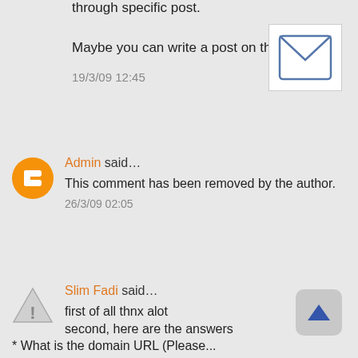through specific post.
Maybe you can write a post on this... :)
19/3/09 12:45
[Figure (illustration): Email envelope icon in a white box with border]
[Figure (logo): Blogger orange circle with white letter B]
Admin said...
This comment has been removed by the author.
26/3/09 02:05
[Figure (illustration): Warning triangle icon with exclamation mark]
Slim Fadi said...
first of all thnx alot
second, here are the answers
[Figure (illustration): Scroll up button with blue triangle arrow]
* What is the domain URL (Please...